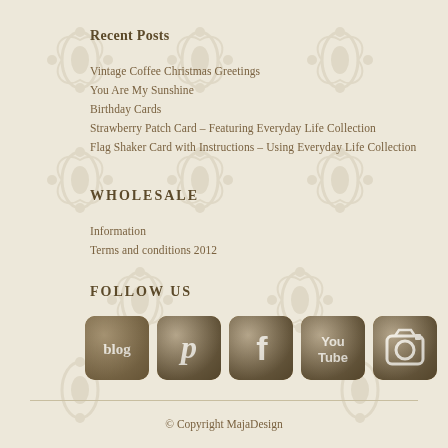Recent Posts
Vintage Coffee Christmas Greetings
You Are My Sunshine
Birthday Cards
Strawberry Patch Card – Featuring Everyday Life Collection
Flag Shaker Card with Instructions – Using Everyday Life Collection
WHOLESALE
Information
Terms and conditions 2012
FOLLOW US
[Figure (infographic): Five social media icon buttons with rounded square shapes in brown/olive color: blog, Pinterest (P), Facebook (f), YouTube, and Instagram camera icon]
© Copyright MajaDesign